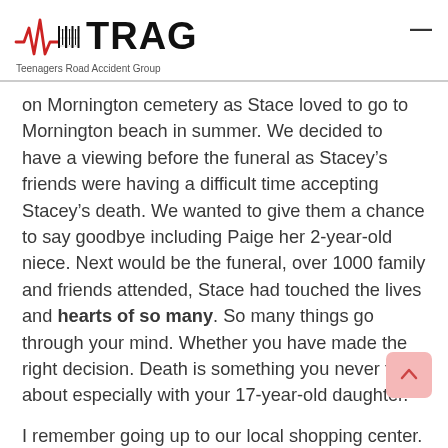TRAG — Teenagers Road Accident Group
on Mornington cemetery as Stace loved to go to Mornington beach in summer. We decided to have a viewing before the funeral as Stacey's friends were having a difficult time accepting Stacey's death. We wanted to give them a chance to say goodbye including Paige her 2-year-old niece. Next would be the funeral, over 1000 family and friends attended, Stace had touched the lives and hearts of so many. So many things go through your mind. Whether you have made the right decision. Death is something you never talk about especially with your 17-year-old daughter.
I remember going up to our local shopping center.